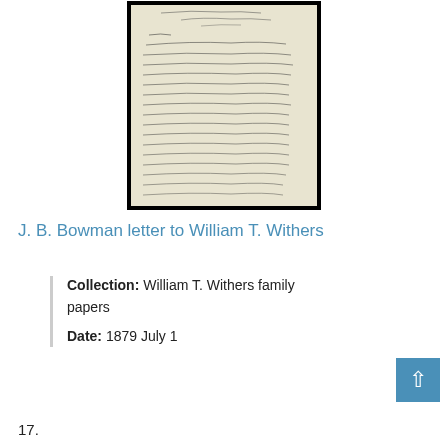[Figure (photo): Scanned handwritten letter on aged paper with black border frame]
J. B. Bowman letter to William T. Withers
Collection: William T. Withers family papers
Date: 1879 July 1
17.